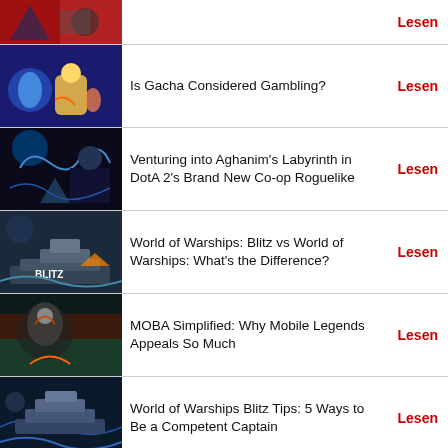(partial item) Lesen
Is Gacha Considered Gambling? Lesen
Venturing into Aghanim's Labyrinth in DotA 2's Brand New Co-op Roguelike Lesen
World of Warships: Blitz vs World of Warships: What's the Difference? Lesen
MOBA Simplified: Why Mobile Legends Appeals So Much Lesen
World of Warships Blitz Tips: 5 Ways to Be a Competent Captain Lesen
Top 3 New Free to Play MMOs You Need to Try Right Now Lesen
Pull Off the Ultimate Heist with Mad Moxxi in Borderlands 3 Lesen